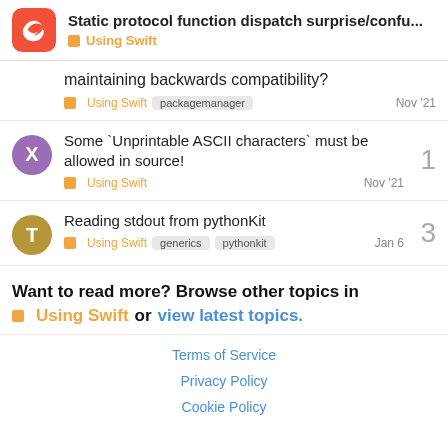Static protocol function dispatch surprise/confu... | Using Swift
maintaining backwards compatibility?
Using Swift | packagemanager | Nov '21
Some `Unprintable ASCII characters` must be allowed in source! | Using Swift | Nov '21 | replies: 1
Reading stdout from pythonKit | Using Swift | generics | pythonkit | Jan 6 | replies: 3
Want to read more? Browse other topics in Using Swift or view latest topics.
Terms of Service | Privacy Policy | Cookie Policy